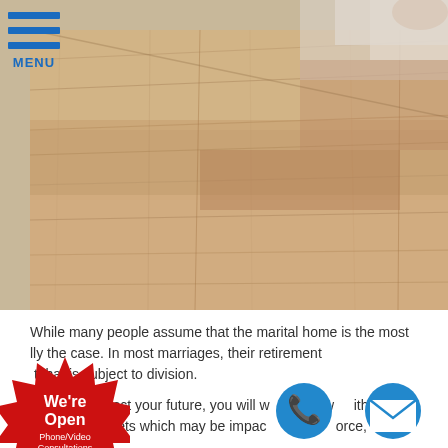[Figure (photo): Close-up photograph of a light-colored wooden floor/table surface with natural wood grain texture, viewed at an angle. A partial view of a person's arm/hand appears in the top right corner.]
While many people assume that the marital home is the most valuable asset in a divorce, this is not always the case. In most marriages, their retirement accounts are the most significant asset that is subject to division.
To protect your future, you will want to work with an attorney who will account for ALL assets which may be impacted by the divorce,